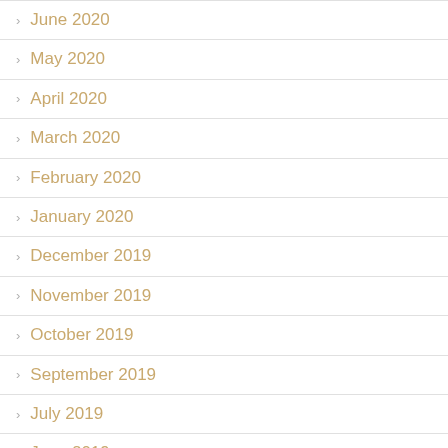June 2020
May 2020
April 2020
March 2020
February 2020
January 2020
December 2019
November 2019
October 2019
September 2019
July 2019
June 2019
January 2019
December 2018